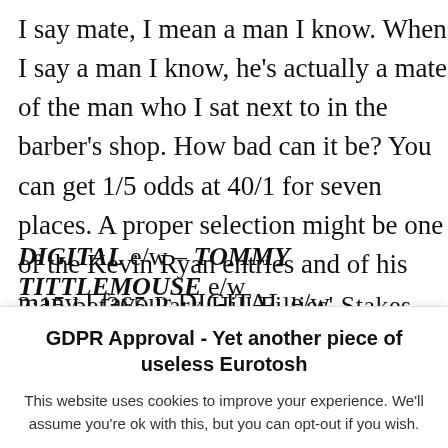I say mate, I mean a man I know. When I say a man I know, he’s actually a mate of the man who I sat next to in the barber’s shop. How bad can it be? You can get 1/5 odds at 40/1 for seven places. A proper selection might be one of the Kevin Ryan entries and of his many I favour DIGITAL e/w
DIGITAL e/w – TOMMY TITTLEMOUSE e/w
2:15 bet365 Park Hill Fillies’ Stakes
GDPR Approval - Yet another piece of useless Eurotosh
This website uses cookies to improve your experience. We’ll assume you’re ok with this, but you can opt-out if you wish.
Cookie settings   ACCEPT